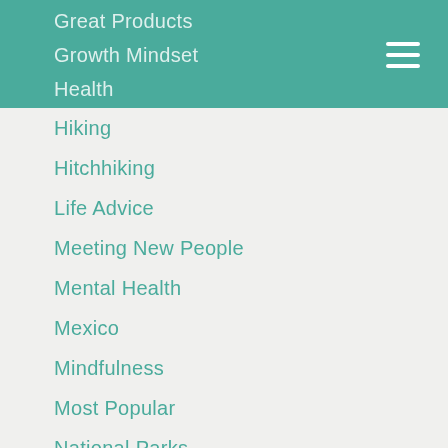Great Products
Growth Mindset
Health
Hiking
Hitchhiking
Life Advice
Meeting New People
Mental Health
Mexico
Mindfulness
Most Popular
National Parks
Outdoors
Parenting
Parenting Advice
Passive Entertainment
Play
Playfulness
Psychology
Relationships
Resilience